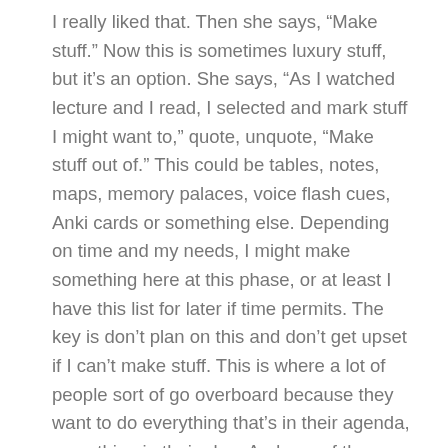I really liked that. Then she says, “Make stuff.” Now this is sometimes luxury stuff, but it’s an option. She says, “As I watched lecture and I read, I selected and mark stuff I might want to,” quote, unquote, “Make stuff out of.” This could be tables, notes, maps, memory palaces, voice flash cues, Anki cards or something else. Depending on time and my needs, I might make something here at this phase, or at least I have this list for later if time permits. The key is don’t plan on this and don’t get upset if I can’t make stuff. This is where a lot of people sort of go overboard because they want to do everything that’s in their agenda, everything in their plan. And one of the things we’re really preaching here is you can’t do everything that you’re going to want. There’s too much information, there’s not enough time. So part of the skill set of managing this is learning how to prioritize and sort of ruthlessly cut things that are more luxury based, not